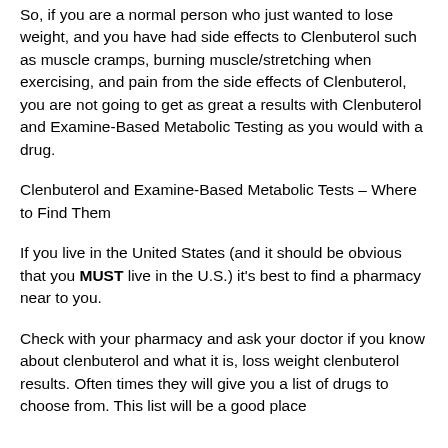So, if you are a normal person who just wanted to lose weight, and you have had side effects to Clenbuterol such as muscle cramps, burning muscle/stretching when exercising, and pain from the side effects of Clenbuterol, you are not going to get as great a results with Clenbuterol and Examine-Based Metabolic Testing as you would with a drug.
Clenbuterol and Examine-Based Metabolic Tests – Where to Find Them
If you live in the United States (and it should be obvious that you MUST live in the U.S.) it's best to find a pharmacy near to you.
Check with your pharmacy and ask your doctor if you know about clenbuterol and what it is, loss weight clenbuterol results. Often times they will give you a list of drugs to choose from. This list will be a good place